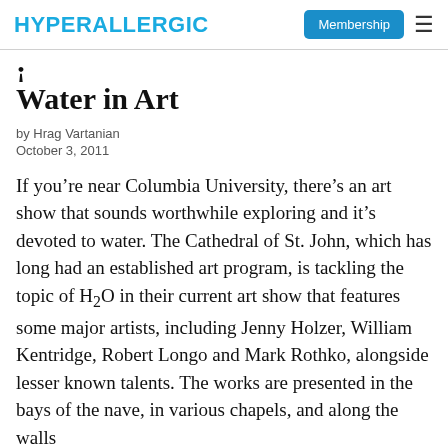HYPERALLERGIC | Membership ≡
Water in Art
by Hrag Vartanian
October 3, 2011
If you're near Columbia University, there's an art show that sounds worthwhile exploring and it's devoted to water. The Cathedral of St. John, which has long had an established art program, is tackling the topic of H2O in their current art show that features some major artists, including Jenny Holzer, William Kentridge, Robert Longo and Mark Rothko, alongside lesser known talents. The works are presented in the bays of the nave, in various chapels, and along the walls